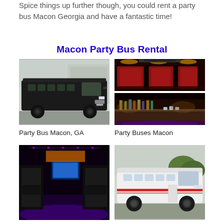Spice things up further though, you could rent a party bus Macon Georgia and have a fantastic time!
Macon Party Bus Rental
[Figure (photo): Black party bus exterior, large vehicle parked in lot]
[Figure (photo): Party bus interior collage: top shows red leather seats with ceiling lights, bottom shows bar area with bottles and purple lighting]
Party Bus Macon, GA
Party Buses Macon
[Figure (photo): Party bus interior with purple lighting, black leather seating, TV screen, city view through window]
[Figure (photo): White party bus exterior parked outdoors]